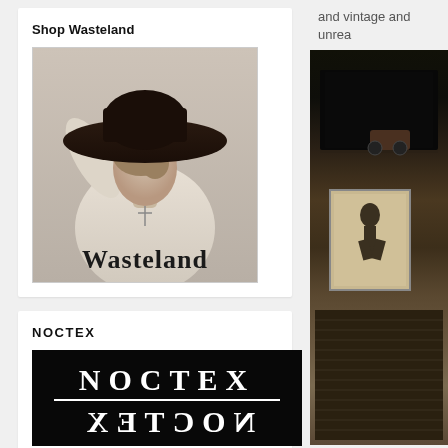and vintage and unrea
Shop Wasteland
[Figure (photo): Fashion photo of a woman wearing a large dark wide-brim hat and white lace top with a cross pendant necklace. The word 'Wasteland' is shown in bold serif text at the bottom of the image.]
NOCTEX
[Figure (logo): NOCTEX logo on black background: 'NOCTEX' in white serif letters, a white horizontal dividing line, and 'NOCTEX' mirrored/flipped horizontally below.]
Missy Industry
[Figure (photo): Interior photo of what appears to be a vintage or antique shop, dimly lit with dark shelving, a small motorcycle figurine, and framed artwork/records visible.]